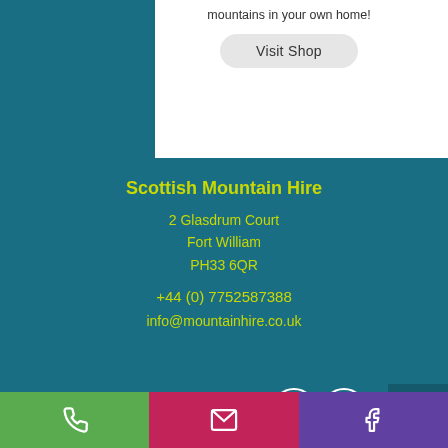mountains in your own home!
Visit Shop
Scottish Mountain Hire
2 Glasdrum Court
Fort William
PH33 6QR
+44 (0) 7752587388
info@mountainhire.co.uk
Partners with:
Scottish Mountain Shop
© 2022 by Scottish Mountain Hire
[Figure (infographic): Footer bar with three buttons: green phone icon, pink/magenta email icon, purple Facebook icon]